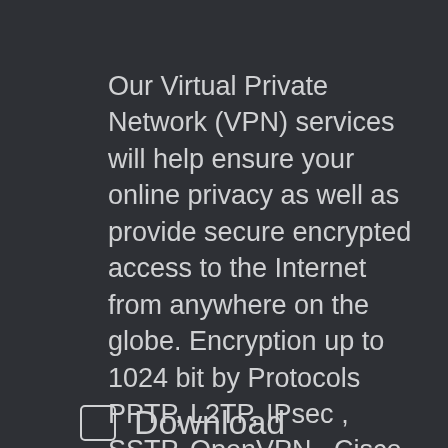Our Virtual Private Network (VPN) services will help ensure your online privacy as well as provide secure encrypted access to the Internet from anywhere on the globe. Encryption up to 1024 bit by Protocols PPTP, L2TP, IPsec , SSTP, OpenVPN , Cisco VPN, Kerio
Download